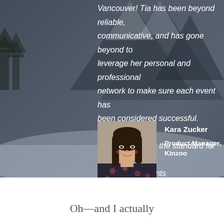Vancouver! Tia has been beyond reliable, communicative, and has gone beyond to leverage her personal and professional network to make sure each event has been considered successful. Together, we've helped set the standard for other Tech Ladies events internationally and supported other women in the process."
[Figure (photo): Portrait photo of Kara Zucker, a woman with long dark hair, smiling, wearing a floral top]
Kara Zucker
Product Manager, Kinzoo
Oh—and I actually